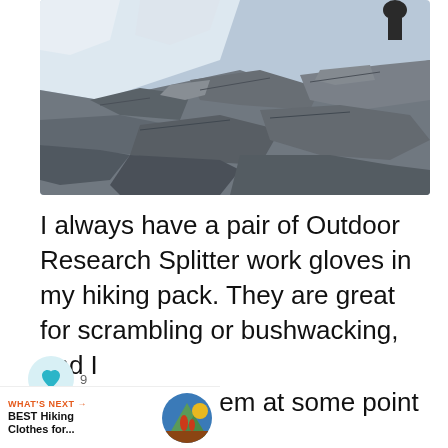[Figure (photo): Rocky mountainside with snow and a person visible in the upper portion, large grey boulders and rocks covering the slope]
I always have a pair of Outdoor Research Splitter work gloves in my hiking pack. They are great for scrambling or bushwacking, and I always use them at some point on my hike.
I never want to come back with bloody hands, and they protect against that. For most hikes, I would say these are not